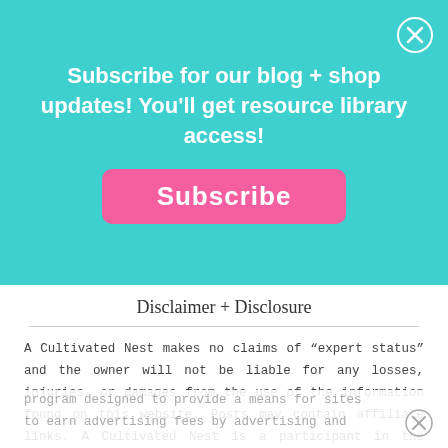Subscribe for our blog + shop updates! You'll get resource library access!
[Figure (infographic): Pink rounded subscribe button on teal background]
Disclaimer + Disclosure
A Cultivated Nest makes no claims of “expert status” and the owner will not be liable for any losses, injuries, or damages from the use of the information found on this website. Posts may contain affiliate links. A Cultivated Nest is a participant in the Amazon Services LLC Associates Program, an affiliate advertising program designed to provide a means for sites to earn advertising fees by advertising and
program designed to provide a means for sites to earn advertising fees by advertising and